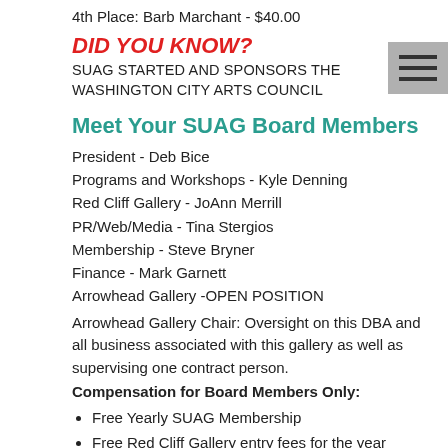4th Place: Barb Marchant - $40.00
DID YOU KNOW?
SUAG STARTED AND SPONSORS THE WASHINGTON CITY ARTS COUNCIL
Meet Your SUAG Board Members
President - Deb Bice
Programs and Workshops - Kyle Denning
Red Cliff Gallery - JoAnn Merrill
PR/Web/Media - Tina Stergios
Membership - Steve Bryner
Finance - Mark Garnett
Arrowhead Gallery -OPEN POSITION
Arrowhead Gallery Chair: Oversight on this DBA and all business associated with this gallery as well as supervising one contract person.
Compensation for Board Members Only:
Free Yearly SUAG Membership
Free Red Cliff Gallery entry fees for the year shows
50% discount for all SUAG Workshops
One day paid yearly retreat
Commissions Fee at both Arrowhead Gallery and Red Cliff Gallery 10% vs 25%
President, Southern Utah Art Guild - Deb Bice